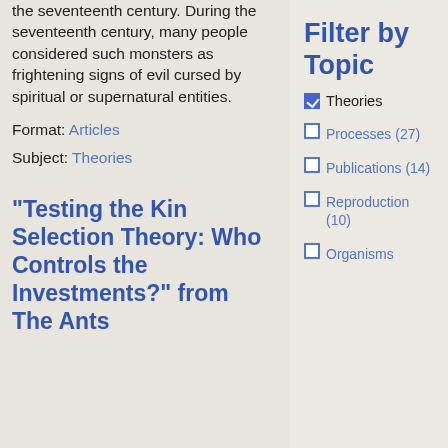the seventeenth century. During the seventeenth century, many people considered such monsters as frightening signs of evil cursed by spiritual or supernatural entities.
Format: Articles
Subject: Theories
"Testing the Kin Selection Theory: Who Controls the Investments?" from The Ants
Filter by Topic
Theories (checked)
Processes (27)
Publications (14)
Reproduction (10)
Organisms